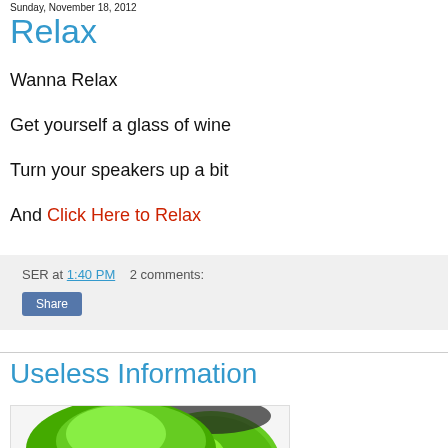Sunday, November 18, 2012
Relax
Wanna Relax
Get yourself a glass of wine
Turn your speakers up a bit
And Click Here to Relax
SER at 1:40 PM    2 comments:
Share
Useless Information
[Figure (photo): Green circular object, possibly a device or toy, with a purple center dot, partially visible at bottom of page]